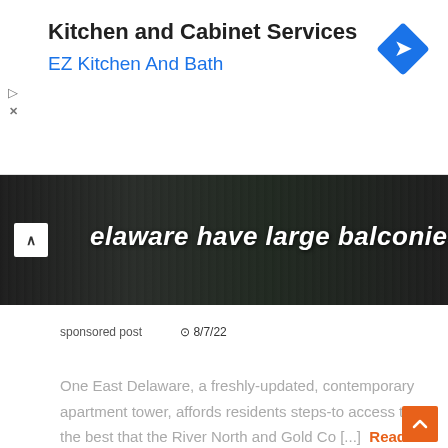Kitchen and Cabinet Services
EZ Kitchen And Bath
[Figure (screenshot): Dark image of apartment balconies with overlay text reading 'Delaware have large balconies']
sponsored post   8/7/22
One East Delaware, a freshly-updated, contemporary apartment tower, affords residents steps-to access to the best that the River North and Gold Co [...] Read More
Latest videos
[Figure (photo): Sky and buildings photo, video thumbnail]